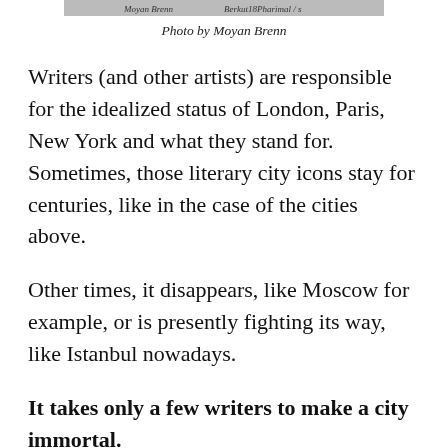[Figure (photo): Partial image strip at the top of the page with attribution text visible]
Photo by Moyan Brenn
Writers (and other artists) are responsible for the idealized status of London, Paris, New York and what they stand for. Sometimes, those literary city icons stay for centuries, like in the case of the cities above.
Other times, it disappears, like Moscow for example, or is presently fighting its way, like Istanbul nowadays.
It takes only a few writers to make a city immortal.
This explains the residencies offered to writers